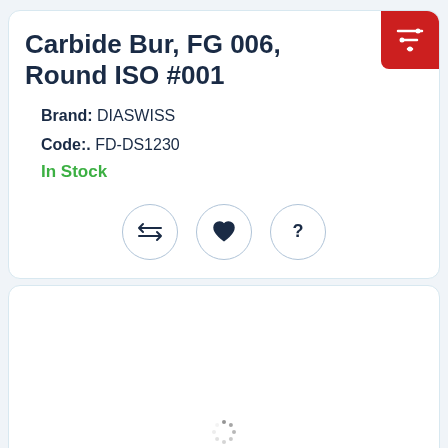Carbide Bur, FG 006, Round ISO #001
Brand: DIASWISS
Code:. FD-DS1230
In Stock
[Figure (other): Three circular icon buttons: compare arrows icon, heart/favorite icon, question mark icon]
[Figure (other): Loading spinner dots in a circular arrangement]